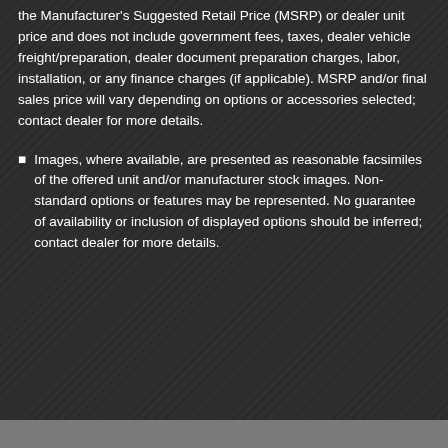the Manufacturer's Suggested Retail Price (MSRP) or dealer unit price and does not include government fees, taxes, dealer vehicle freight/preparation, dealer document preparation charges, labor, installation, or any finance charges (if applicable). MSRP and/or final sales price will vary depending on options or accessories selected; contact dealer for more details.
Images, where available, are presented as reasonable facsimiles of the offered unit and/or manufacturer stock images. Non-standard options or features may be represented. No guarantee of availability or inclusion of displayed options should be inferred; contact dealer for more details.